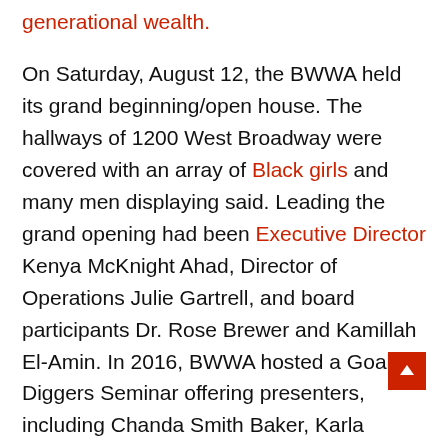generational wealth.
On Saturday, August 12, the BWWA held its grand beginning/open house. The hallways of 1200 West Broadway were covered with an array of Black girls and many men displaying said. Leading the grand opening had been Executive Director Kenya McKnight Ahad, Director of Operations Julie Gartrell, and board participants Dr. Rose Brewer and Kamillah El-Amin. In 2016, BWWA hosted a Goal Diggers Seminar offering presenters, including Chanda Smith Baker, Karla Smith, Deanna Cummings, and the Minnesota Spokesman-Recorder's very own, Tracey Williams-Dillard.
Black women building a wealth of friendships and get August 22, 2017, with the aid of Brandi Phillips, Leave a Comment